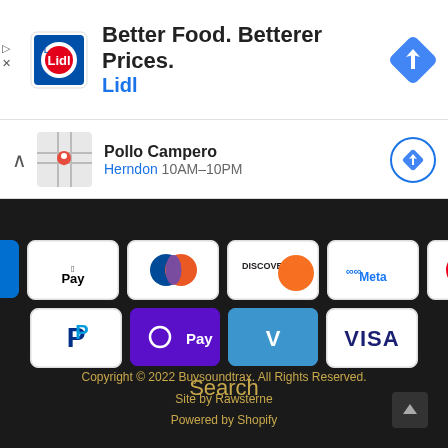[Figure (screenshot): Lidl advertisement banner with Lidl circular logo, text 'Better Food. Betterer Prices.' and 'Lidl', and a blue navigation diamond icon on the right]
[Figure (screenshot): Google Maps POI bar showing Pollo Campero, Herndon 10AM-10PM with map thumbnail and navigation icon]
[Figure (infographic): Dark background section showing payment method icons: AMEX, Apple Pay, Diners Club, Discover, Meta, Mastercard, PayPal, O Pay, Venmo, Visa]
Search
Copyright © 2022 Buysoundtrax. All Rights Reserved.
Site by Rawsterne
Powered by Shopify